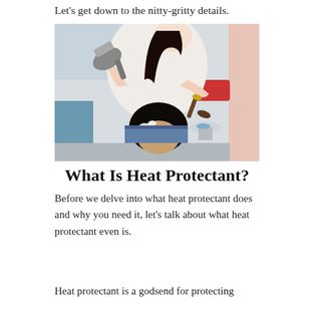Let's get down to the nitty-gritty details.
[Figure (photo): A hairstylist using a blow dryer and round brush on a seated client with dark curly hair, in a bright salon setting.]
What Is Heat Protectant?
Before we delve into what heat protectant does and why you need it, let's talk about what heat protectant even is.
Heat protectant is a godsend for protecting